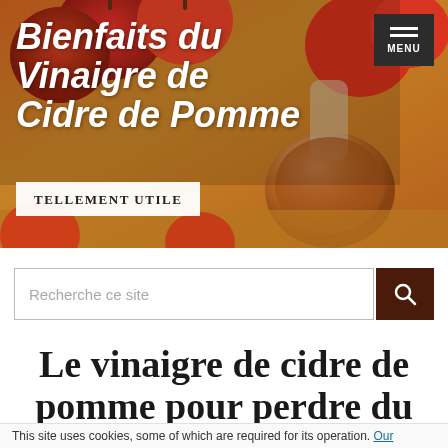[Figure (photo): Hero banner photograph showing apples and a glass carafe of apple cider vinegar on a wooden surface. Bold italic white text overlay reads 'Bienfaits du Vinaigre de Cidre de Pomme'. A dark menu button is in the top-right corner. A white banner below reads 'Tellement Utile'.]
Recherche ce site
Le vinaigre de cidre de pomme pour perdre du
This site uses cookies, some of which are required for its operation. Our